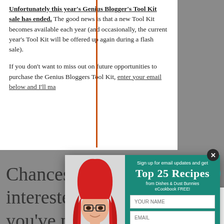Unfortunately this year's Genius Blogger's Tool Kit sale has ended. The good news is that a new Tool Kit becomes available each year (and occasionally, the current year's Tool Kit will be offered up again during a flash sale).
If you don't want to miss out on future opportunities to purchase the Genius Bloggers Tool Kit, enter your email below and I'll make...
[Figure (screenshot): Email signup popup modal with a woman with red hair on the left, teal background with 'Sign up for email updates and get Top 25 Recipes from Dishes & Dust Bunnies eCookbook FREE!' text, name and email input fields, and an orange 'SEND ME THE ECOOKBOOK!' button]
Chances are if you're interested blogging you've probably heard about the Genius Blogger's Toolkit.
If you're interested in this year's bundle
[Figure (screenshot): What's Next promotional box showing '20 Easy Valentine's...' article with thumbnail image]